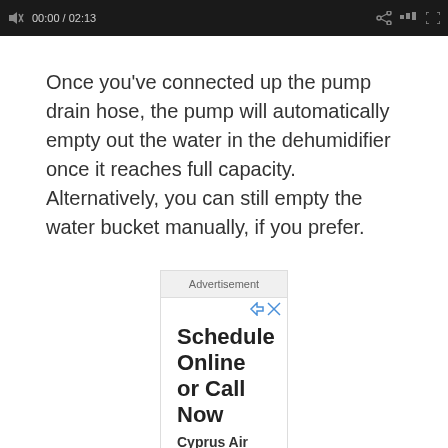[Figure (screenshot): Video player control bar showing playback controls, timestamp 00:00 / 02:13, and other media controls on dark background]
Once you’ve connected up the pump drain hose, the pump will automatically empty out the water in the dehumidifier once it reaches full capacity. Alternatively, you can still empty the water bucket manually, if you prefer.
Advertisement
Schedule Online or Call Now
Cyprus Air Heating and Cooling
Air Heating and Cooling Services Available